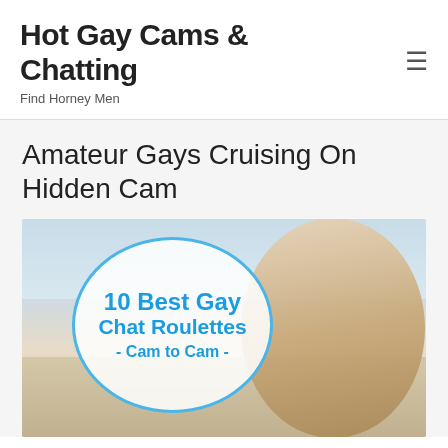Hot Gay Cams & Chatting
Find Horney Men
Amateur Gays Cruising On Hidden Cam
[Figure (photo): Promotional image with an oval badge reading '10 Best Gay Chat Roulettes - Cam to Cam -' in blue text on white background with blue oval border, and a shirtless man on a beach in the background on the right side.]